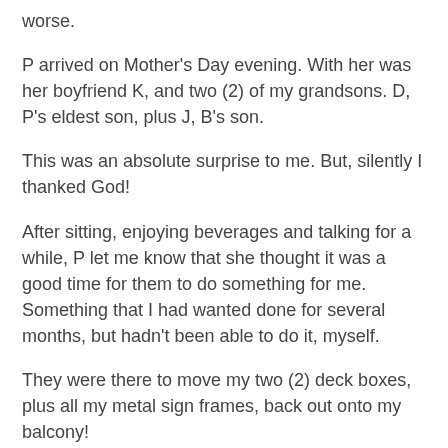worse.
P arrived on Mother's Day evening.  With her was her boyfriend K, and two (2) of my grandsons.  D, P's eldest son, plus J, B's son.
This was an absolute surprise to me.  But, silently I thanked God!
After sitting, enjoying beverages and talking for a while, P let me know that she thought it was a good time for them to do something for me.  Something that I had wanted done for several months, but hadn't been able to do it, myself.
They were there to move my two (2) deck boxes, plus all my metal sign frames, back out onto my balcony!
In case you're not aware, those items had taken up much of my living room space, for close to three (3) years.  It took close to two and a half (2 1/2) years for the balcony repairs to be completed.  And, of course, since it was completed in November 2014, I had all those things inside my apartment